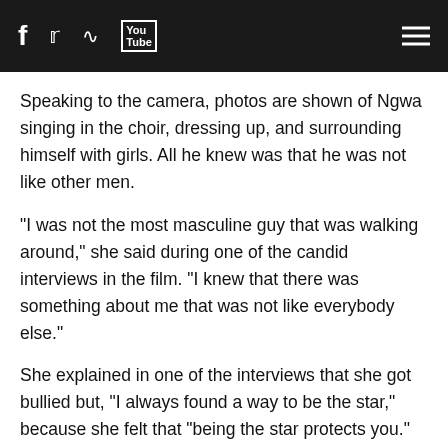f [twitter] [rss] [YouTube] [menu]
Speaking to the camera, photos are shown of Ngwa singing in the choir, dressing up, and surrounding himself with girls. All he knew was that he was not like other men.
"I was not the most masculine guy that was walking around," she said during one of the candid interviews in the film. "I knew that there was something about me that was not like everybody else."
She explained in one of the interviews that she got bullied but, "I always found a way to be the star," because she felt that "being the star protects you."
Benet said as an immigrant she was able to do what immigrants do — send money home to take care of the family even as she had an unconventional profession